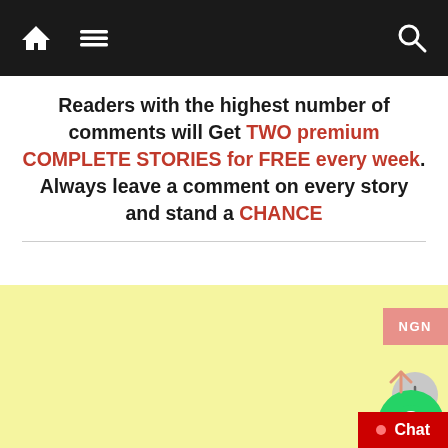Navigation bar with home icon, menu icon, and search icon
Readers with the highest number of comments will Get TWO premium COMPLETE STORIES for FREE every week. Always leave a comment on every story and stand a CHANCE
[Figure (screenshot): Yellow advertisement area]
[Figure (other): NGN button, plus circle, WhatsApp circle button, up arrow, and Chat button overlay elements]